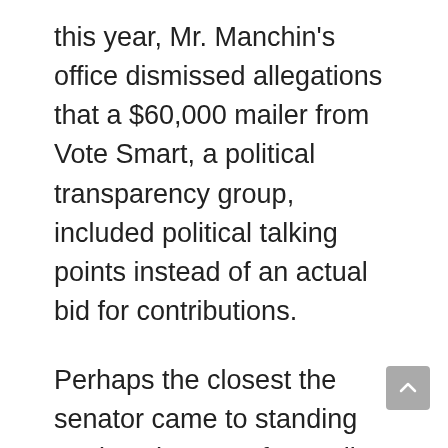this year, Mr. Manchin's office dismissed allegations that a $60,000 mailer from Vote Smart, a political transparency group, included political talking points instead of an actual bid for contributions.
Perhaps the closest the senator came to standing against the sort of spending was when President Donald J. Trump unveiled the “Buy American, Hire American” executive order. Mr. Manchin said he was “more than willing to see if our country can have that promise” and noted that his state was home to thousands of manufacturing jobs.